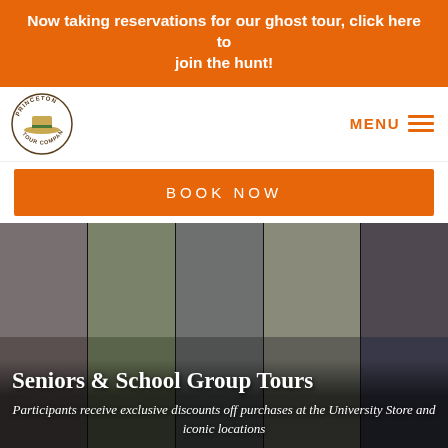Now taking reservations for our ghost tour, click here to join the hunt!
[Figure (logo): Princeton Tour Company logo — circular badge with a straw hat]
MENU
BOOK NOW
[Figure (photo): Collage of five Princeton landmark photos: stone monument, green bronze statue, bust sculpture on pedestal, white colonial house with columns, and Gothic cathedral interior]
Seniors & School Group Tours
Participants receive exclusive discounts off purchases at the University Store and iconic locations